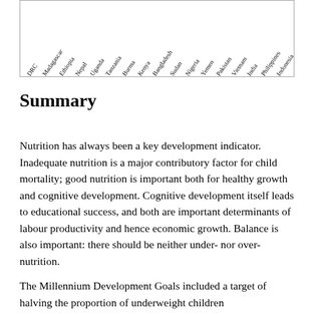[Figure (bar-chart): Partial bar chart showing country labels along x-axis (rotated): DRC, Madagascar, Ethiopia, Nepal, Uganda, Tanzania, Burma, Kenya, Bangladesh, Sudan, Nigeria, Yemen, Pakistan, Vietnam, India, Philippines, Indonesia]
Summary
Nutrition has always been a key development indicator.  Inadequate nutrition is a major contributory factor for child mortality; good nutrition is important both for healthy growth and cognitive development. Cognitive development itself leads to educational success, and both are important determinants of labour productivity and hence economic growth. Balance is also important: there should be neither under- nor over-nutrition.
The Millennium Development Goals included a target of halving the proportion of underweight children